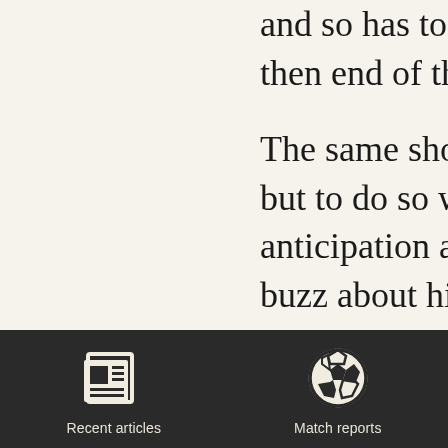and so has to impress q then end of the season

The same should be sa but to do so would be anticipation around th buzz about his early ap It is said that after wat minutes Jackson got o contract drawn up for impressed was he and simplistic to say that th
[Figure (screenshot): Dark navigation bar with two icons: a newspaper icon labeled 'Recent articles' and a soccer ball icon labeled 'Match reports']